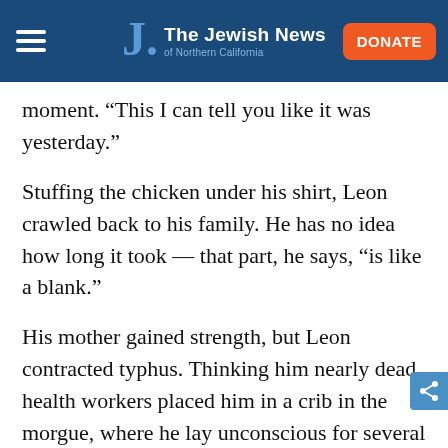The Jewish News of Northern California
moment. “This I can tell you like it was yesterday.”
Stuffing the chicken under his shirt, Leon crawled back to his family. He has no idea how long it took — that part, he says, “is like a blank.”
His mother gained strength, but Leon contracted typhus. Thinking him nearly dead, health workers placed him in a crib in the morgue, where he lay unconscious for several days. When he opened his eyes, he saw cracked windows nearby. Too weak to crawl out — “I was nothing but bones” — he “knew I had a chance to tell somebody, ‘I’m alive!’”
A miracle: He saw his father passing by. The boy